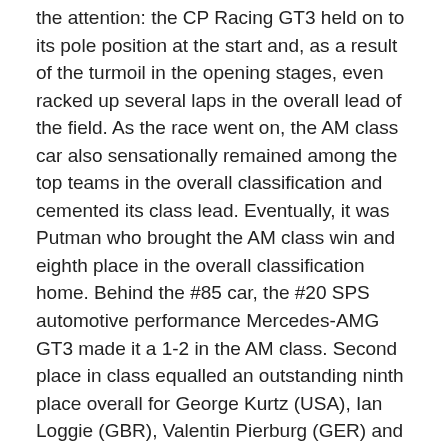the attention: the CP Racing GT3 held on to its pole position at the start and, as a result of the turmoil in the opening stages, even racked up several laps in the overall lead of the field. As the race went on, the AM class car also sensationally remained among the top teams in the overall classification and cemented its class lead. Eventually, it was Putman who brought the AM class win and eighth place in the overall classification home. Behind the #85 car, the #20 SPS automotive performance Mercedes-AMG GT3 made it a 1-2 in the AM class. Second place in class equalled an outstanding ninth place overall for George Kurtz (USA), Ian Loggie (GBR), Valentin Pierburg (GER) and Saudi Arabia's first-ever female racer Saudi-Arabiens Reema Juffali (KSA).
Class win in the GT3-P/A classification